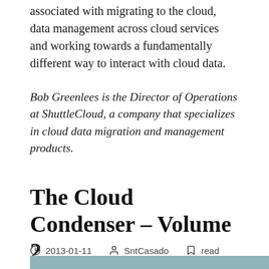associated with migrating to the cloud, data management across cloud services and working towards a fundamentally different way to interact with cloud data.
Bob Greenlees is the Director of Operations at ShuttleCloud, a company that specializes in cloud data migration and management products.
The Cloud Condenser – Volume 2
2013-01-11   SntCasado   read